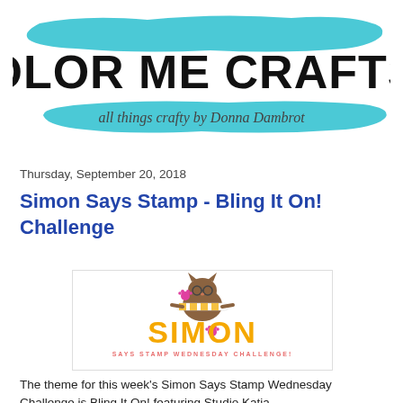[Figure (logo): Color Me Craftsy blog logo with teal/turquoise brush stroke background, bold black text 'COLOR ME CRAFTSY', and italic script subtitle 'all things crafty by Donna Dambrot']
Thursday, September 20, 2018
Simon Says Stamp - Bling It On! Challenge
[Figure (logo): Simon Says Stamp Wednesday Challenge logo featuring a cartoon cat wearing glasses holding a stamp, with orange text 'SIMON' and pink paw print, subtitle 'SAYS STAMP WEDNESDAY CHALLENGE!']
The theme for this week's Simon Says Stamp Wednesday Challenge is Bling It On! featuring Studio Katia